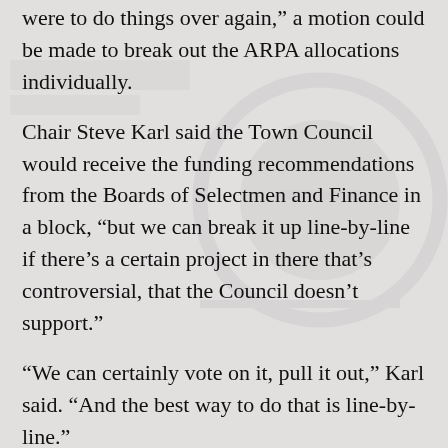were to do things over again," a motion could be made to break out the ARPA allocations individually.
Chair Steve Karl said the Town Council would receive the funding recommendations from the Boards of Selectmen and Finance in a block, “but we can break it up line-by-line if there’s a certain project in there that’s controversial, that the Council doesn’t support.”
“We can certainly vote on it, pull it out,” Karl said. “And the best way to do that is line-by-line.”
The two councilman who had been most outspoken in favor of the “Live New Canaan” allocation in the past—Cristina A. Ross and Rita Bettino—said nothing about the proposal, the councilmen’s comments.